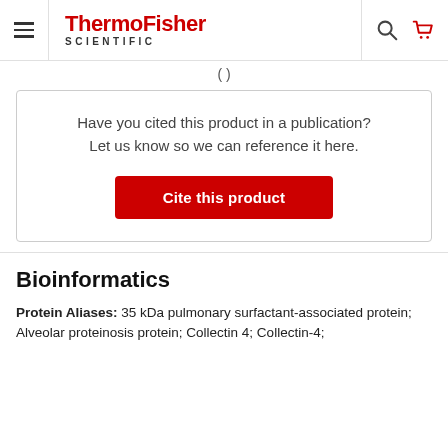ThermoFisher SCIENTIFIC
Have you cited this product in a publication? Let us know so we can reference it here.
Cite this product
Bioinformatics
Protein Aliases: 35 kDa pulmonary surfactant-associated protein; Alveolar proteinosis protein; Collectin 4; Collectin-4;